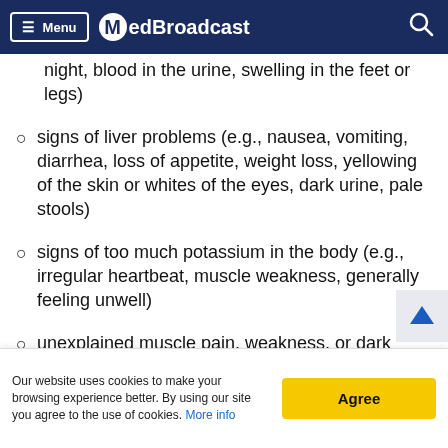Menu | MedBroadcast
night, blood in the urine, swelling in the feet or legs)
signs of liver problems (e.g., nausea, vomiting, diarrhea, loss of appetite, weight loss, yellowing of the skin or whites of the eyes, dark urine, pale stools)
signs of too much potassium in the body (e.g., irregular heartbeat, muscle weakness, generally feeling unwell)
unexplained muscle pain, weakness, or dark brown urine
Stop taking the medication and seek immedia…
Our website uses cookies to make your browsing experience better. By using our site you agree to the use of cookies. More info | Agree